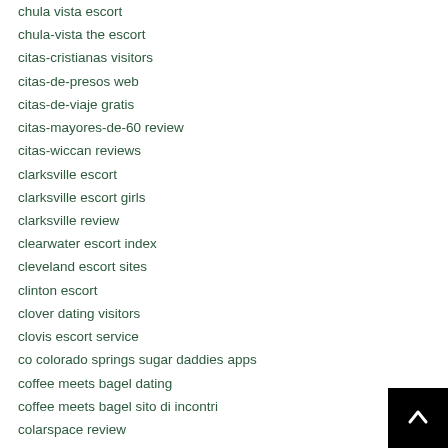chula vista escort
chula-vista the escort
citas-cristianas visitors
citas-de-presos web
citas-de-viaje gratis
citas-mayores-de-60 review
citas-wiccan reviews
clarksville escort
clarksville escort girls
clarksville review
clearwater escort index
cleveland escort sites
clinton escort
clover dating visitors
clovis escort service
co colorado springs sugar daddies apps
coffee meets bagel dating
coffee meets bagel sito di incontri
colarspace review